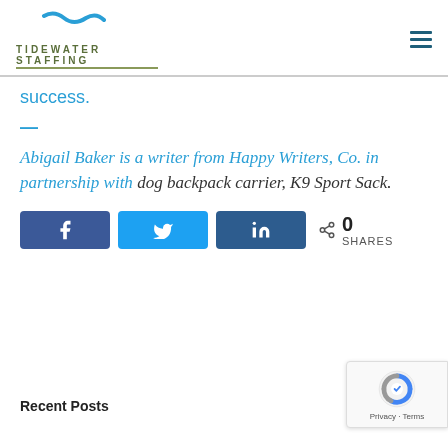[Figure (logo): Tidewater Staffing logo with teal wave mark above text and green underline]
success.
—
Abigail Baker is a writer from Happy Writers, Co. in partnership with dog backpack carrier, K9 Sport Sack.
[Figure (infographic): Social share buttons: Facebook (f), Twitter (bird), LinkedIn (in), with 0 SHARES count]
Recent Posts